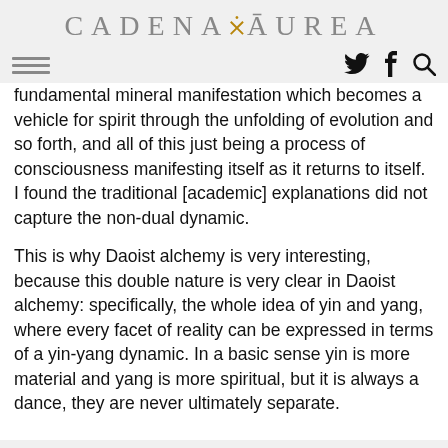CADENA ᗙ AUREA
fundamental mineral manifestation which becomes a vehicle for spirit through the unfolding of evolution and so forth, and all of this just being a process of consciousness manifesting itself as it returns to itself. I found the traditional [academic] explanations did not capture the non-dual dynamic.
This is why Daoist alchemy is very interesting, because this double nature is very clear in Daoist alchemy: specifically, the whole idea of yin and yang, where every facet of reality can be expressed in terms of a yin-yang dynamic. In a basic sense yin is more material and yang is more spiritual, but it is always a dance, they are never ultimately separate.